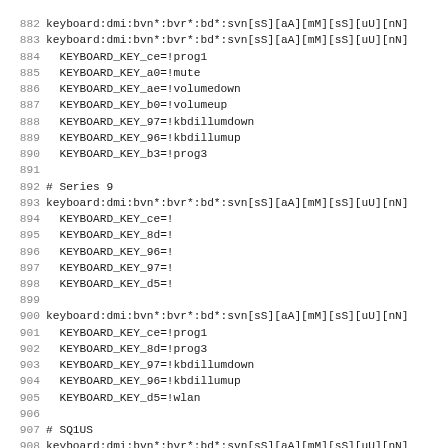882 keyboard:dmi:bvn*:bvr*:bd*:svn[sS][aA][mM][sS][uU][nN]
883 keyboard:dmi:bvn*:bvr*:bd*:svn[sS][aA][mM][sS][uU][nN]
884   KEYBOARD_KEY_ce=!prog1
885   KEYBOARD_KEY_a0=!mute
886   KEYBOARD_KEY_ae=!volumedown
887   KEYBOARD_KEY_b0=!volumeup
888   KEYBOARD_KEY_97=!kbdillumdown
889   KEYBOARD_KEY_96=!kbdillumup
890   KEYBOARD_KEY_b3=!prog3
891
892 # Series 9
893 keyboard:dmi:bvn*:bvr*:bd*:svn[sS][aA][mM][sS][uU][nN]
894   KEYBOARD_KEY_ce=!
895   KEYBOARD_KEY_8d=!
896   KEYBOARD_KEY_96=!
897   KEYBOARD_KEY_97=!
898   KEYBOARD_KEY_d5=!
899
900 keyboard:dmi:bvn*:bvr*:bd*:svn[sS][aA][mM][sS][uU][nN]
901   KEYBOARD_KEY_ce=!prog1
902   KEYBOARD_KEY_8d=!prog3
903   KEYBOARD_KEY_97=!kbdillumdown
904   KEYBOARD_KEY_96=!kbdillumup
905   KEYBOARD_KEY_d5=!wlan
906
907 # SQ1US
908 keyboard:dmi:bvn*:bvr*:bd*:svn[sS][aA][mM][sS][uU][nN]
909   KEYBOARD_KEY_d4=menu
910   KEYBOARD_KEY_d8=f1
911   KEYBOARD_KEY_d9=f10
912   KEYBOARD_KEY_d6=f3
913   KEYBOARD_KEY_d7=f9
914   KEYBOARD_KEY_e4=f5